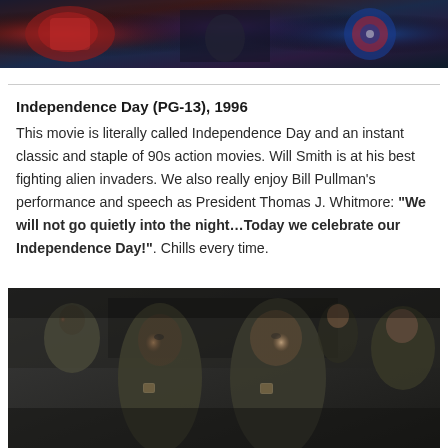[Figure (photo): Movie still from The Avengers showing superhero characters including Iron Man and Captain America]
Independence Day (PG-13), 1996
This movie is literally called Independence Day and an instant classic and staple of 90s action movies. Will Smith is at his best fighting alien invaders. We also really enjoy Bill Pullman's performance and speech as President Thomas J. Whitmore: “We will not go quietly into the night…Today we celebrate our Independence Day!”. Chills every time.
[Figure (photo): Movie still from Independence Day (1996) showing Will Smith and other actors in military flight suits looking upward intently]